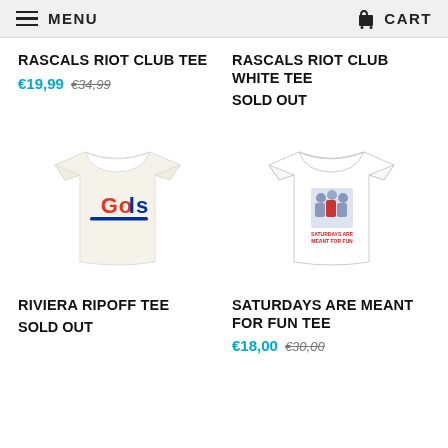MENU   CART
RASCALS RIOT CLUB TEE
€19,99  €34,99
RASCALS RIOT CLUB WHITE TEE SOLD OUT
[Figure (photo): Cream/off-white t-shirt with 'Gols' logo in red and blue]
[Figure (photo): White t-shirt with graphic print: 'Saturdays are meant for fun']
RIVIERA RIPOFF TEE SOLD OUT
SATURDAYS ARE MEANT FOR FUN TEE
€18,00  €30,00